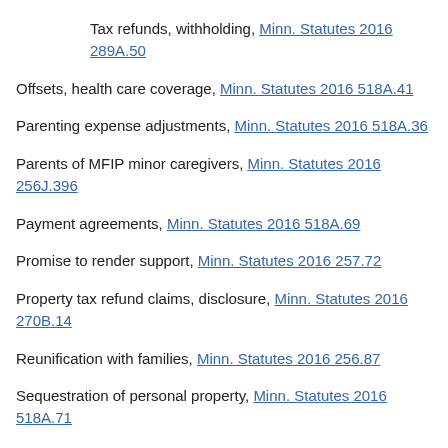Tax refunds, withholding, Minn. Statutes 2016 289A.50
Offsets, health care coverage, Minn. Statutes 2016 518A.41
Parenting expense adjustments, Minn. Statutes 2016 518A.36
Parents of MFIP minor caregivers, Minn. Statutes 2016 256J.396
Payment agreements, Minn. Statutes 2016 518A.69
Promise to render support, Minn. Statutes 2016 257.72
Property tax refund claims, disclosure, Minn. Statutes 2016 270B.14
Reunification with families, Minn. Statutes 2016 256.87
Sequestration of personal property, Minn. Statutes 2016 518A.71